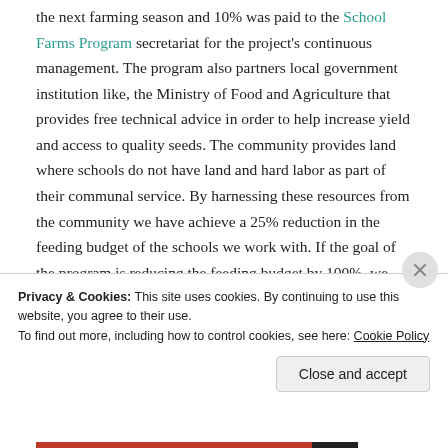the next farming season and 10% was paid to the School Farms Program secretariat for the project's continuous management. The program also partners local government institution like, the Ministry of Food and Agriculture that provides free technical advice in order to help increase yield and access to quality seeds. The community provides land where schools do not have land and hard labor as part of their communal service. By harnessing these resources from the community we have achieve a 25% reduction in the feeding budget of the schools we work with. If the goal of the program is reducing the feeding budget by 100%, we only have to
Privacy & Cookies: This site uses cookies. By continuing to use this website, you agree to their use.
To find out more, including how to control cookies, see here: Cookie Policy